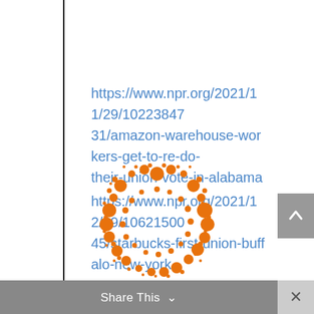https://www.npr.org/2021/11/29/1022384731/amazon-warehouse-workers-get-to-re-do-their-union-vote-in-alabama
https://www.npr.org/2021/12/09/1062150045/starbucks-first-union-buffalo-new-york
[Figure (logo): NPR logo: circular arrangement of orange dots of varying sizes forming a ring/donut pattern, characteristic NPR sunburst logo]
Share This ∨